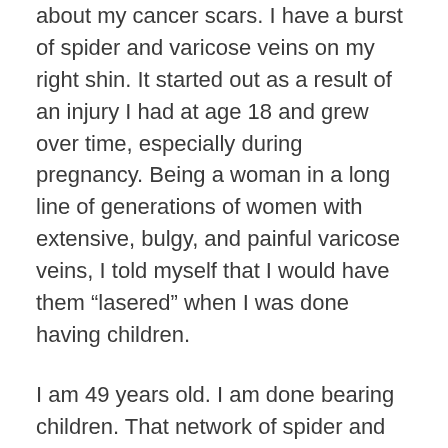about my cancer scars. I have a burst of spider and varicose veins on my right shin. It started out as a result of an injury I had at age 18 and grew over time, especially during pregnancy. Being a woman in a long line of generations of women with extensive, bulgy, and painful varicose veins, I told myself that I would have them “lasered” when I was done having children.
I am 49 years old. I am done bearing children. That network of spider and varicose veins is still abloom on my leg. I stopped caring enough a few years back to wear tights or long pants to cover it. I would be oblivious until some kid would point to it and say, “What is that???” I run warm with all of this middle aged hot flash stuff and I’d rather be vein-y than overheated. I saw a photo of myself with my mom on Mother’s Day. I could see the veins on my leg and I thought, “I don’t give a rat’s ass. Mom and I